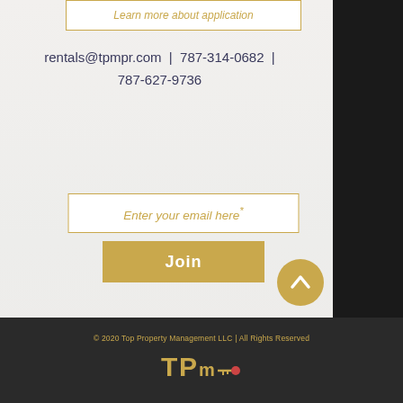[Figure (other): Button with text 'Learn more about application' in gold italic text with gold border]
rentals@tpmpr.com | 787-314-0682 | 787-627-9736
[Figure (other): Email input field with placeholder 'Enter your email here*' in gold italic text]
[Figure (other): Gold 'Join' button]
[Figure (other): Gold circular back-to-top button with upward chevron arrow]
© 2020 Top Property Management LLC | All Rights Reserved
[Figure (logo): TPM logo with key icon in gold on dark background]